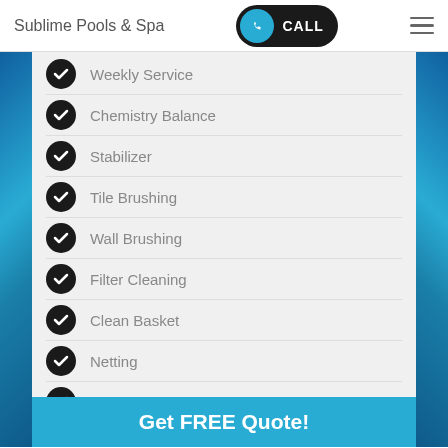Sublime Pools & Spa — CALL
Weekly Service
Chemistry Balance
Stabilizer
Tile Brushing
Wall Brushing
Filter Cleaning
Clean Basket
Netting
Inspect Equipment
Get FREE Quote!